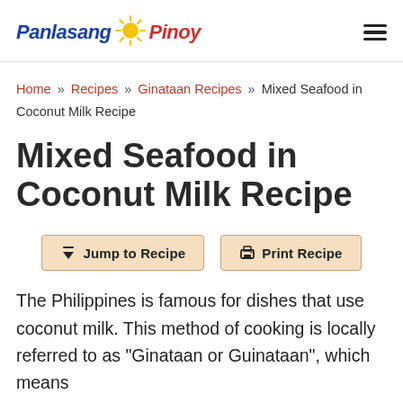Panlasang Pinoy
Home » Recipes » Ginataan Recipes » Mixed Seafood in Coconut Milk Recipe
Mixed Seafood in Coconut Milk Recipe
[Figure (other): Two buttons: Jump to Recipe and Print Recipe]
The Philippines is famous for dishes that use coconut milk. This method of cooking is locally referred to as "Ginataan or Guinataan", which means